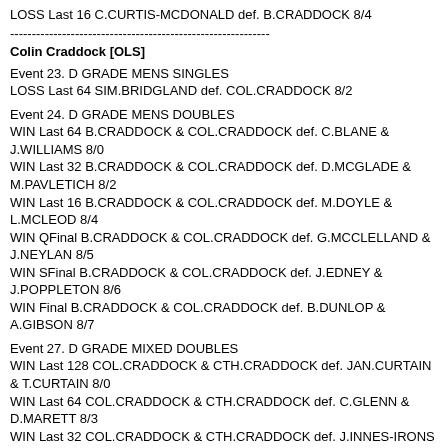LOSS Last 16 C.CURTIS-MCDONALD def. B.CRADDOCK 8/4
------------------------------------------------------------
Colin Craddock [OLS]
Event 23. D GRADE MENS SINGLES
LOSS Last 64 SIM.BRIDGLAND def. COL.CRADDOCK 8/2
Event 24. D GRADE MENS DOUBLES
WIN Last 64 B.CRADDOCK & COL.CRADDOCK def. C.BLANE & J.WILLIAMS 8/0
WIN Last 32 B.CRADDOCK & COL.CRADDOCK def. D.MCGLADE & M.PAVLETICH 8/2
WIN Last 16 B.CRADDOCK & COL.CRADDOCK def. M.DOYLE & L.MCLEOD 8/4
WIN QFinal B.CRADDOCK & COL.CRADDOCK def. G.MCCLELLAND & J.NEYLAN 8/5
WIN SFinal B.CRADDOCK & COL.CRADDOCK def. J.EDNEY & J.POPPLETON 8/6
WIN Final B.CRADDOCK & COL.CRADDOCK def. B.DUNLOP & A.GIBSON 8/7
Event 27. D GRADE MIXED DOUBLES
WIN Last 128 COL.CRADDOCK & CTH.CRADDOCK def. JAN.CURTAIN & T.CURTAIN 8/0
WIN Last 64 COL.CRADDOCK & CTH.CRADDOCK def. C.GLENN & D.MARETT 8/3
WIN Last 32 COL.CRADDOCK & CTH.CRADDOCK def. J.INNES-IRONS & M.INNES-IRONS 8/5
LOSS Last 16 N.MCCLELLAND & J.NEYLAN def. COL.CRADDOCK & CTH.CRADDOCK 8/2